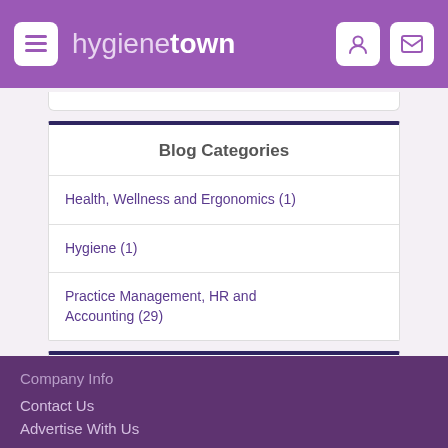hygienetown
Blog Categories
Health, Wellness and Ergonomics (1)
Hygiene (1)
Practice Management, HR and Accounting (29)
Sponsors
Company Info
Contact Us
Advertise With Us